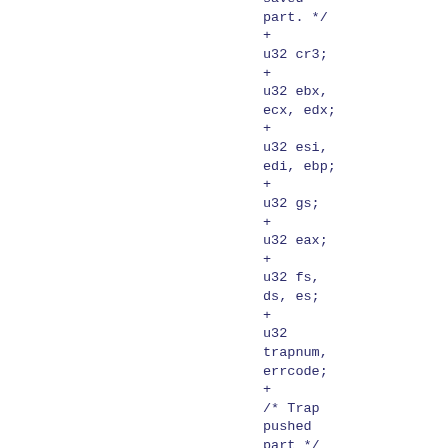saved
part. */
+
u32 cr3;
+
u32 ebx,
ecx, edx;
+
u32 esi,
edi, ebp;
+
u32 gs;
+
u32 eax;
+
u32 fs,
ds, es;
+
u32
trapnum,
errcode;
+
/* Trap
pushed
part */
+
u32 eip;
+
u32 cs;
+